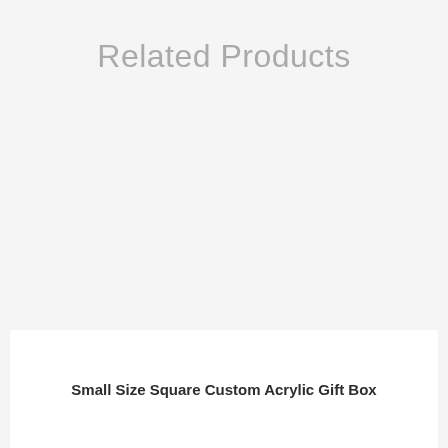Related Products
Small Size Square Custom Acrylic Gift Box